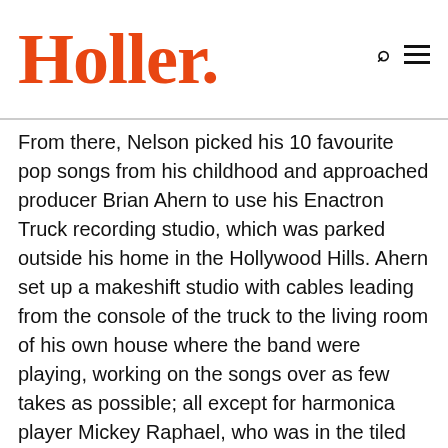Holler.
From there, Nelson picked his 10 favourite pop songs from his childhood and approached producer Brian Ahern to use his Enactron Truck recording studio, which was parked outside his home in the Hollywood Hills. Ahern set up a makeshift studio with cables leading from the console of the truck to the living room of his own house where the band were playing, working on the songs over as few takes as possible; all except for harmonica player Mickey Raphael, who was in the tiled bathroom shower for his takes.